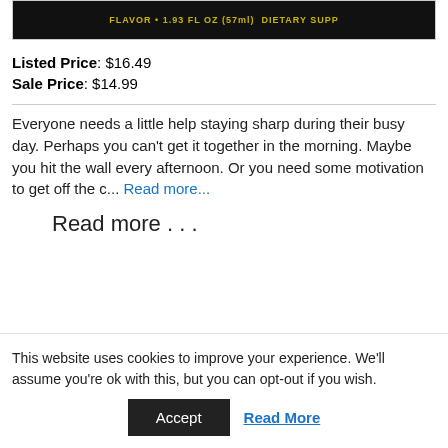[Figure (photo): Product image showing a dietary supplement bottle with text: FLAVOR • 1.93 FL OZ (57ml) DIETARY SUPP]
Listed Price: $16.49
Sale Price: $14.99
Everyone needs a little help staying sharp during their busy day. Perhaps you can't get it together in the morning. Maybe you hit the wall every afternoon. Or you need some motivation to get off the c... Read more...
Read more . . .
This website uses cookies to improve your experience. We'll assume you're ok with this, but you can opt-out if you wish.
Accept   Read More